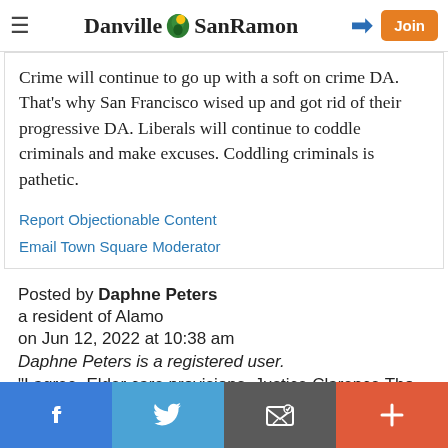Danville SanRamon — navigation header with menu, logo, login, and Join button
Crime will continue to go up with a soft on crime DA. That's why San Francisco wised up and got rid of their progressive DA. Liberals will continue to coddle criminals and make excuses. Coddling criminals is pathetic.
Report Objectionable Content
Email Town Square Moderator
Posted by Daphne Peters
a resident of Alamo
on Jun 12, 2022 at 10:38 am
Daphne Peters is a registered user.
Social share bar: Facebook, Twitter, Email, More